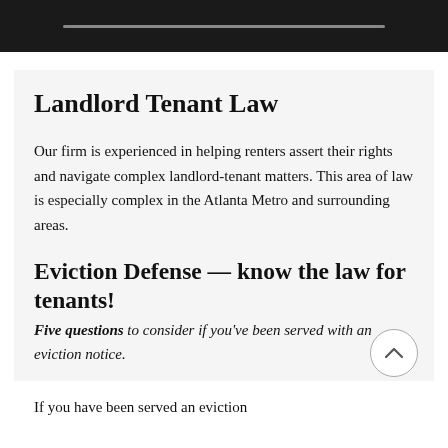Landlord Tenant Law
Our firm is experienced in helping renters assert their rights and navigate complex landlord-tenant matters. This area of law is especially complex in the Atlanta Metro and surrounding areas.
Eviction Defense — know the law for tenants!
Five questions to consider if you've been served with an eviction notice.
If you have been served an eviction